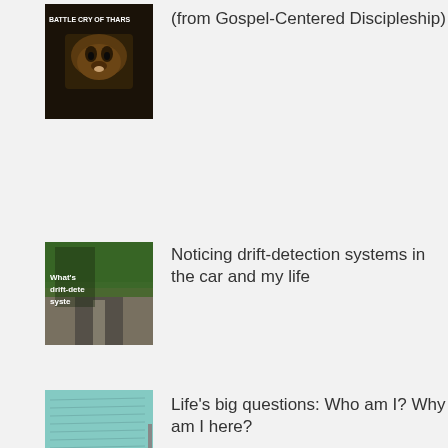[Figure (photo): Lion face close-up with text overlay reading BATTLE CRY OF THARS]
(from Gospel-Centered Discipleship)
[Figure (photo): Road through forest with text overlay: What's drift-detection systems]
Noticing drift-detection systems in the car and my life
[Figure (photo): Blue-green paper with handwriting and text overlay: I am created.]
Life's big questions: Who am I? Why am I here?
[Figure (photo): Partial image at bottom, appears to be a finger or object]
Filling My Cup in an